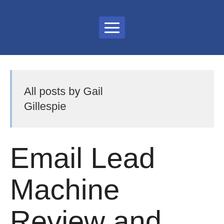All posts by Gail Gillespie
Email Lead Machine Review and Bonus